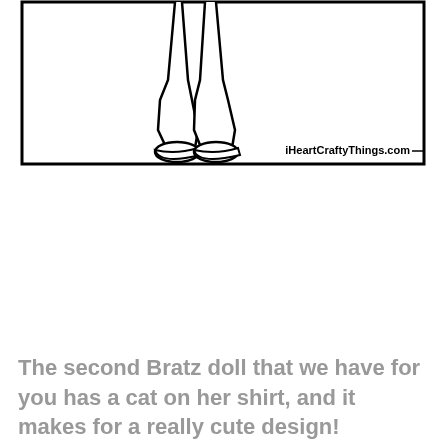[Figure (illustration): Bottom portion of a Bratz doll coloring page showing the doll's lower body, legs, and shoes/feet only. The image is in black and white line art style, inside a bordered rectangle. The website watermark 'iHeartCraftyThings.com' appears at the bottom right of the bordered box.]
The second Bratz doll that we have for you has a cat on her shirt, and it makes for a really cute design!